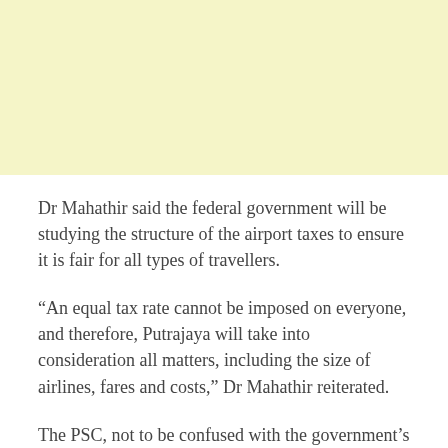[Figure (other): Light yellow rectangular block at the top of the page, approximately one-third of the page height.]
Dr Mahathir said the federal government will be studying the structure of the airport taxes to ensure it is fair for all types of travellers.
“An equal tax rate cannot be imposed on everyone, and therefore, Putrajaya will take into consideration all matters, including the size of airlines, fares and costs,” Dr Mahathir reiterated.
The PSC, not to be confused with the government’s